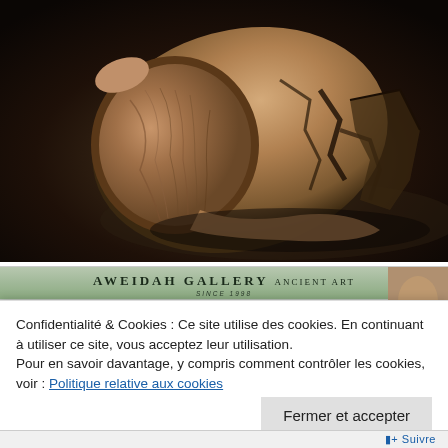[Figure (photo): Photograph of an ancient hollow stone or petrified wood vessel/mortar tipped on its side, showing rough textured interior and exterior, against a dark background]
[Figure (photo): Partial view of Aweidah Gallery Ancient Art certificate of authenticity with gallery name header in green/sage tones]
Confidentialité & Cookies : Ce site utilise des cookies. En continuant à utiliser ce site, vous acceptez leur utilisation.
Pour en savoir davantage, y compris comment contrôler les cookies, voir : Politique relative aux cookies
Fermer et accepter